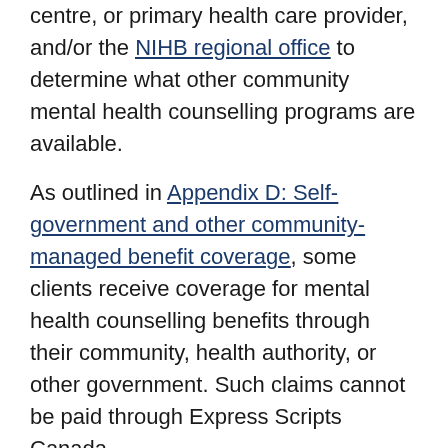centre, or primary health care provider, and/or the NIHB regional office to determine what other community mental health counselling programs are available.
As outlined in Appendix D: Self-government and other community-managed benefit coverage, some clients receive coverage for mental health counselling benefits through their community, health authority, or other government. Such claims cannot be paid through Express Scripts Canada.
Clients who may require mental health counselling supports without appointments should discuss their needs with their mental